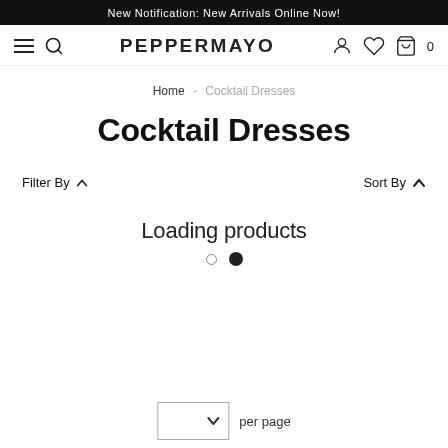New Notification: New Arrivals Online Now!
PEPPERMAYO
Home - Cocktail Dresses
Cocktail Dresses
Filter By
Sort By
Loading products
per page